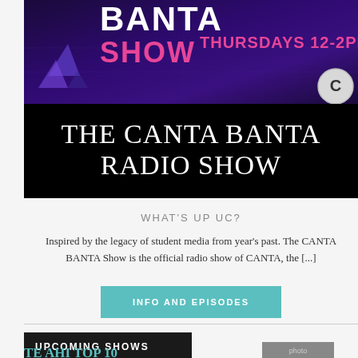[Figure (illustration): Dark purple/indigo banner with 'BANTA SHOW THURSDAYS 12-2PM' text in white and pink, with geometric triangle decorations and a circular logo]
THE CANTA BANTA RADIO SHOW
WHAT'S UP UC?
Inspired by the legacy of student media from year's past. The CANTA BANTA Show is the official radio show of CANTA, the [...]
INFO AND EPISODES
UPCOMING SHOWS
TE AHI TOP 10
[Figure (photo): Photo of two people at a radio show]